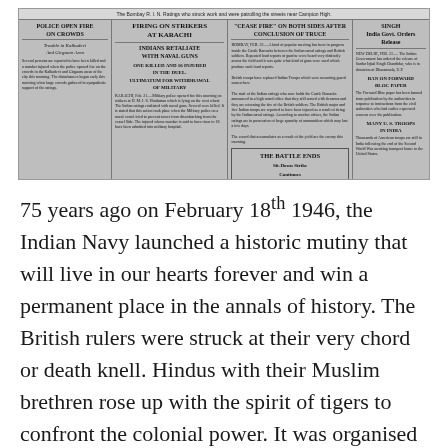[Figure (photo): Scanned newspaper front page showing headlines about Indian Navy Mutiny 1946, including 'Firing on Strikers at Karachi', 'Indians Retaliate with Naval Guns', 'Police Open Fire on Crowds', 'Cease Fire on Both Sides after Conclusion of Truce', 'The Battle Ends Sit-Down Strike Continues', and other related columns with dense black-and-white newsprint text.]
75 years ago on February 18th 1946, the Indian Navy launched a historic mutiny that will live in our hearts forever and win a permanent place in the annals of history. The British rulers were struck at their very chord or death knell. Hindus with their Muslim brethren rose up with the spirit of tigers to confront the colonial power. It was organised with the skill of a sculptor and force of a boxer. Ironically Congress leaders like Sardar Vallabahai Patel ,Jawaharlal Nehru and MK Gandhi condemned it as treason. The bond